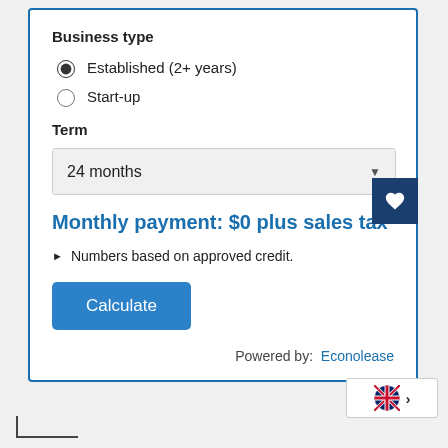Business type
Established (2+ years)
Start-up
Term
24 months
Monthly payment: $0 plus sales tax
Numbers based on approved credit.
Calculate
Powered by: Econolease